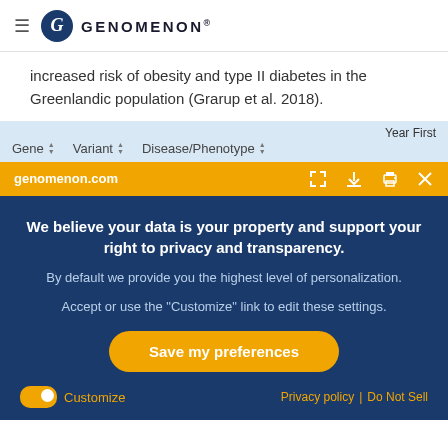GENOMENON®
increased risk of obesity and type II diabetes in the Greenlandic population (Grarup et al. 2018).
| Gene | Variant | Disease/Phenotype | Year First |
| --- | --- | --- | --- |
genomenon.com
We believe your data is your property and support your right to privacy and transparency.
By default we provide you the highest level of personalization.
Accept or use the "Customize" link to edit these settings.
Save my preferences
Customize   Privacy policy  |  Do Not Sell